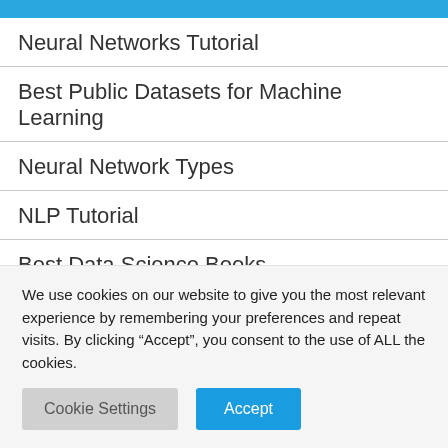Neural Networks Tutorial
Best Public Datasets for Machine Learning
Neural Network Types
NLP Tutorial
Best Data Science Books
We use cookies on our website to give you the most relevant experience by remembering your preferences and repeat visits. By clicking “Accept”, you consent to the use of ALL the cookies.